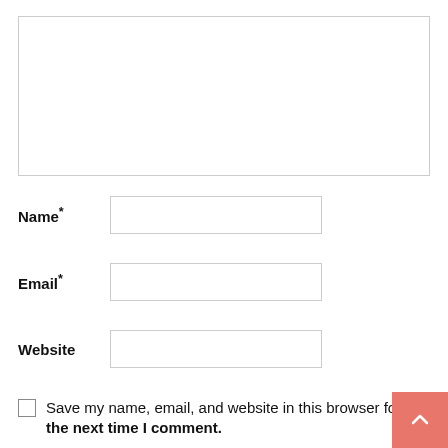[Figure (other): Comment text area input box, large rectangle with light gray border]
Name*
[Figure (other): Name text input field, rectangle with light gray border]
Email*
[Figure (other): Email text input field, rectangle with light gray border]
Website
[Figure (other): Website text input field, rectangle with light gray border]
Save my name, email, and website in this browser for the next time I comment.
[Figure (other): Back to top button, salmon/pink square with upward chevron arrow]